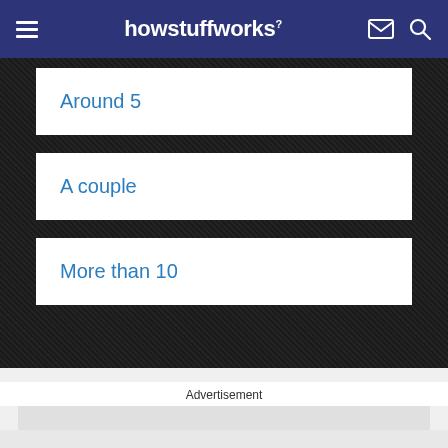howstuffworks
Around 5
A couple
More than 10
Advertisement